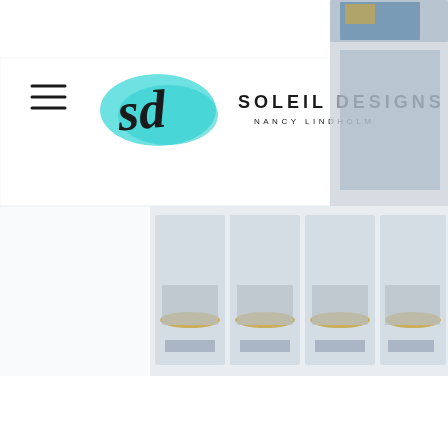[Figure (screenshot): Soleil Designs website header with logo showing 'sd' in teal brushstroke and text 'SOLEIL DESIGNS NANCY LINDHOLM', hamburger menu icon on left, partial blurred product image on right, and blurred product row image below the header.]